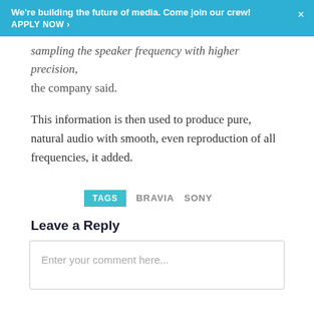We're building the future of media. Come join our crew! APPLY NOW >
sampling the speaker frequency with higher precision, the company said.
This information is then used to produce pure, natural audio with smooth, even reproduction of all frequencies, it added.
TAGS  BRAVIA  SONY
Leave a Reply
Enter your comment here...